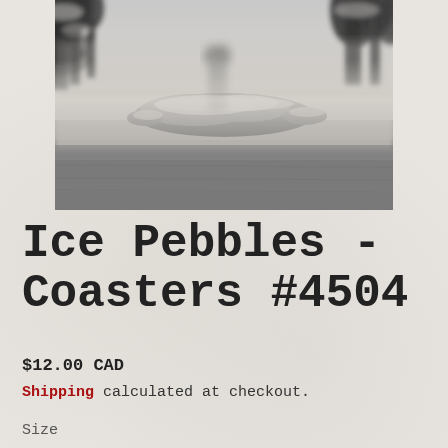[Figure (photo): Black and white photograph of a misty winter lake scene with snow-covered rocks, trees (evergreens), and a dock or structure visible through fog in the background.]
Ice Pebbles - Coasters #4504
$12.00 CAD
Shipping calculated at checkout.
Size